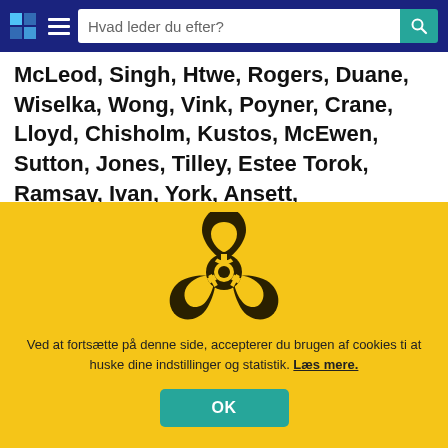Hvad leder du efter?
McLeod, Singh, Htwe, Rogers, Duane, Wiselka, Wong, Vink, Poyner, Crane, Lloyd, Chisholm, Kustos, McEwen, Sutton, Jones, Tilley, Estee Torok, Ramsay, Ivan, York, Ansett, Varadarajan, Eshiwe, Fife, Harris, Jayesinghe, Sekhon, Cruise, Larkin, Kanabar,
[Figure (illustration): Biohazard symbol in dark brown/black on yellow background]
Ved at fortsætte på denne side, accepterer du brugen af cookies ti at huske dine indstillinger og statistik. Læs mere.